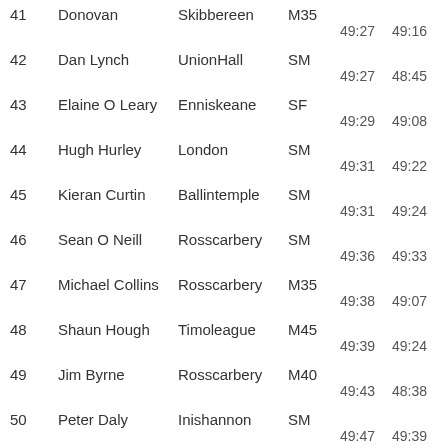| # | Name | Club | Cat | Time1 | Time2 | Bib |
| --- | --- | --- | --- | --- | --- | --- |
| 41 | Donovan | Skibbereen | M35 | 49:27 | 49:16 | 396 |
| 42 | Dan Lynch | UnionHall | SM | 49:27 | 48:45 | 272 |
| 43 | Elaine O Leary | Enniskeane | SF | 49:29 | 49:08 | 426 |
| 44 | Hugh Hurley | London | SM | 49:31 | 49:22 | 224 |
| 45 | Kieran Curtin | Ballintemple | SM | 49:31 | 49:24 | 106 |
| 46 | Sean O Neill | Rosscarbery | SM | 49:36 | 49:33 | 447 |
| 47 | Michael Collins | Rosscarbery | M35 | 49:38 | 49:07 | 78 |
| 48 | Shaun Hough | Timoleague | M45 | 49:39 | 49:24 | 214 |
| 49 | Jim Byrne | Rosscarbery | M40 | 49:43 | 48:38 | 41 |
| 50 | Peter Daly | Inishannon | SM | 49:47 | 49:39 | 113 |
| 51 | Caoimhe | Cork | JF |  |  | 39 |